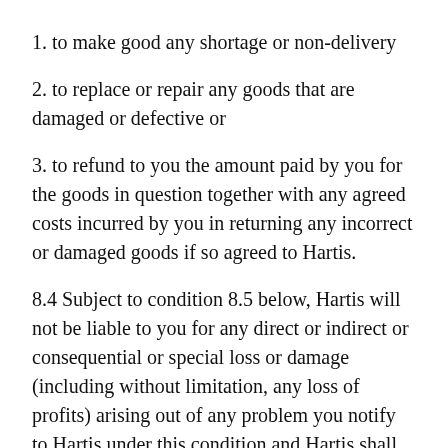1. to make good any shortage or non-delivery
2. to replace or repair any goods that are damaged or defective or
3. to refund to you the amount paid by you for the goods in question together with any agreed costs incurred by you in returning any incorrect or damaged goods if so agreed to Hartis.
8.4 Subject to condition 8.5 below, Hartis will not be liable to you for any direct or indirect or consequential or special loss or damage (including without limitation, any loss of profits) arising out of any problem you notify to Hartis under this condition and Hartis shall have no liability to pay any money to you by way of compensation other than, where applicable, to refund to you the amount paid by you for the goods in question and any